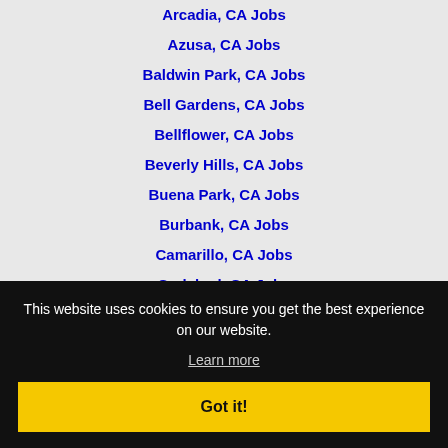Arcadia, CA Jobs
Azusa, CA Jobs
Baldwin Park, CA Jobs
Bell Gardens, CA Jobs
Bellflower, CA Jobs
Beverly Hills, CA Jobs
Buena Park, CA Jobs
Burbank, CA Jobs
Camarillo, CA Jobs
Carlsbad, CA Jobs
Carson, CA Jobs
Cerritos, CA Jobs
Chino Hills, CA Jobs
Clovis, CA Jobs
Coltonville, CA Jobs
Colton, CA Jobs
This website uses cookies to ensure you get the best experience on our website.
Learn more
Got it!